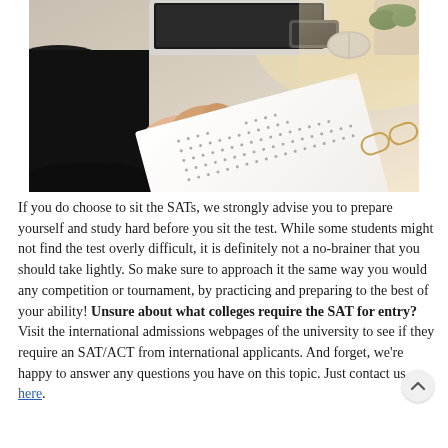[Figure (photo): A person's hand holding a red pencil, filling out a multiple choice exam/answer sheet on a desk, with a computer monitor and plant visible in the background.]
If you do choose to sit the SATs, we strongly advise you to prepare yourself and study hard before you sit the test. While some students might not find the test overly difficult, it is definitely not a no-brainer that you should take lightly. So make sure to approach it the same way you would any competition or tournament, by practicing and preparing to the best of your ability! Unsure about what colleges require the SAT for entry? Visit the international admissions webpages of the university to see if they require an SAT/ACT from international applicants. And forget, we're happy to answer any questions you have on this topic. Just contact us here.